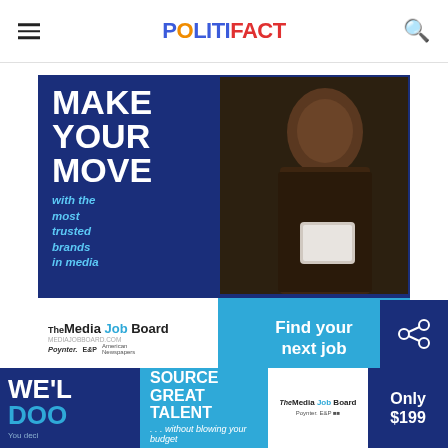POLITIFACT
[Figure (illustration): Media Job Board advertisement: 'MAKE YOUR MOVE with the most trusted brands in media' featuring a man looking at a tablet, with 'Find your next job' call to action. MediaJobBoard.com, Poynter, E&P logos.]
[Figure (illustration): Bottom banner ad: 'SOURCE GREAT TALENT ...without blowing your budget' with Media Job Board logo and 'Only $199' pricing.]